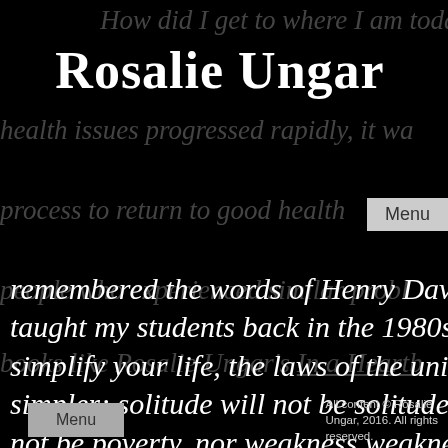Rosalie Ungar
How did I get to where I am today? As health issues progressed rapidly, it wa process to return to good health people who experienced similar probl books like Rosalie Ungar’s In a Heartb
remembered the words of Henry David taught my students back in the 1980s, simplify your life, the laws of the unive simpler; solitude will not be solitude, p not be poverty, nor weakness weakness
Menu
All content © Rosalie Ungar, 2016. All rights reserved.